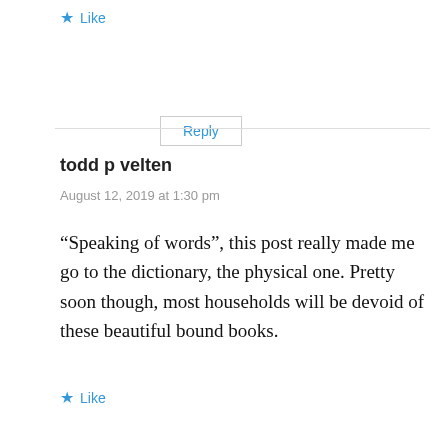Like
Reply
todd p velten
August 12, 2019 at 1:30 pm
“Speaking of words”, this post really made me go to the dictionary, the physical one. Pretty soon though, most households will be devoid of these beautiful bound books.
Like